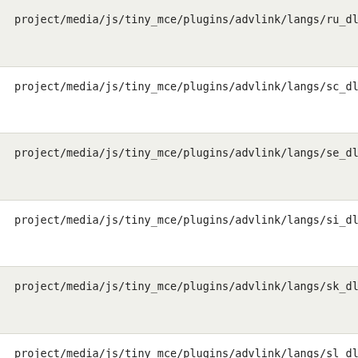project/media/js/tiny_mce/plugins/advlink/langs/ru_dlg.js
project/media/js/tiny_mce/plugins/advlink/langs/sc_dlg.js
project/media/js/tiny_mce/plugins/advlink/langs/se_dlg.js
project/media/js/tiny_mce/plugins/advlink/langs/si_dlg.js
project/media/js/tiny_mce/plugins/advlink/langs/sk_dlg.js
project/media/js/tiny_mce/plugins/advlink/langs/sl_dlg.js